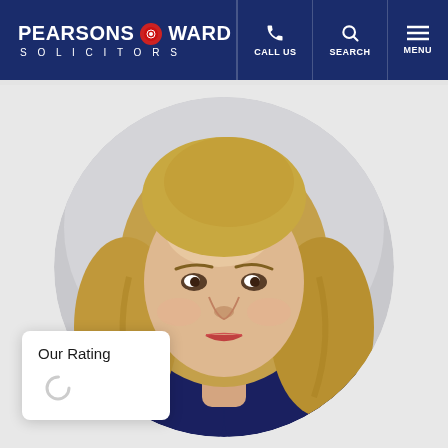PEARSONS WARD SOLICITORS — CALL US | SEARCH | MENU
[Figure (photo): Circular portrait photo of a middle-aged woman with blonde shoulder-length hair wearing a dark navy top, against a light grey background. The photo is clipped in a circle.]
Our Rating
[Figure (other): Loading spinner / circular progress indicator (letter C shape) below the 'Our Rating' label in a white card overlay.]